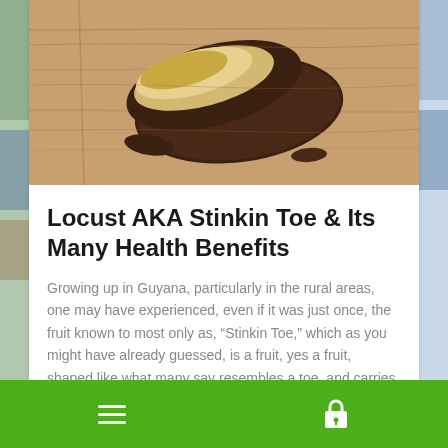[Figure (photo): Close-up photo of locust pods (Stinkin Toe fruit) on a wooden surface, showing dark brown outer shells and pale inner flesh]
Locust AKA Stinkin Toe & Its Many Health Benefits
Growing up in Guyana, particularly in the rural areas, one may have experienced, even if it was just once, the fruit known to most only as, “Stinkin Toe,” which as you might have already guessed, is a fruit, yes a fruit, shaped like what many say resembles a toe, and carries a very unappealing smell. … Continue reading
Things Guyana
0